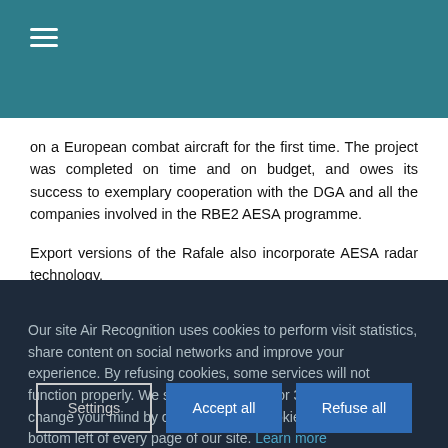≡ (hamburger menu icon)
on a European combat aircraft for the first time. The project was completed on time and on budget, and owes its success to exemplary cooperation with the DGA and all the companies involved in the RBE2 AESA programme.
Export versions of the Rafale also incorporate AESA radar technology.
Our site Air Recognition uses cookies to perform visit statistics, share content on social networks and improve your experience. By refusing cookies, some services will not function properly. We store your choice for 30 days. You can change your mind by clicking on the 'Cookies' button at the bottom left of every page of our site. Learn more